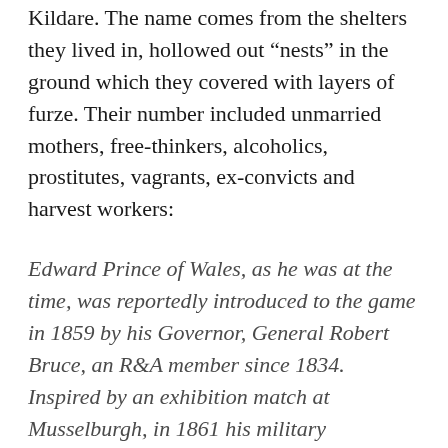Kildare. The name comes from the shelters they lived in, hollowed out "nests" in the ground which they covered with layers of furze. Their number included unmarried mothers, free-thinkers, alcoholics, prostitutes, vagrants, ex-convicts and harvest workers:
Edward Prince of Wales, as he was at the time, was reportedly introduced to the game in 1859 by his Governor, General Robert Bruce, an R&A member since 1834. Inspired by an exhibition match at Musselburgh, in 1861 his military association with the Grenadier Guards would take him to Curragh in Ireland where the recently opened golf course was immediately adjacent to the Camp. It is not documented if the future King